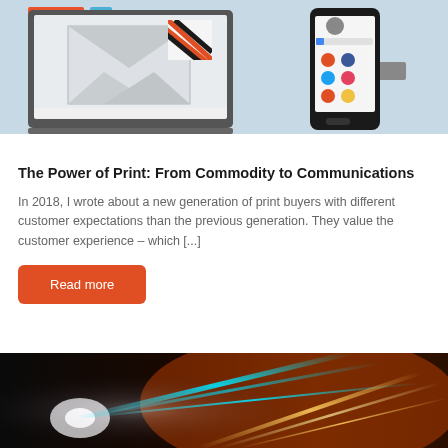[Figure (illustration): Digital communication illustration showing a laptop with an envelope/email icon and a smartphone with app icons, on a light blue background]
The Power of Print: From Commodity to Communications
In 2018, I wrote about a new generation of print buyers with different customer expectations than the previous generation. They value the customer experience – which [...]
Read more
[Figure (photo): Abstract photo of glowing cyan and warm orange/yellow light streaks on dark background, suggesting speed or technology]